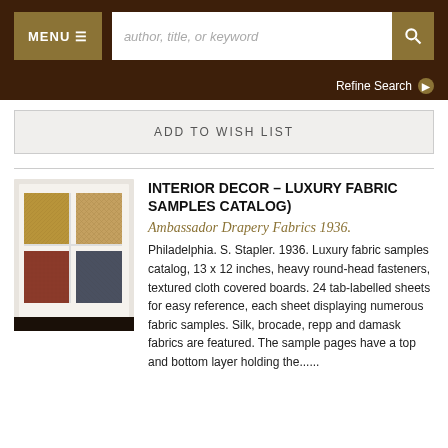MENU  |  author, title, or keyword  [search]
Refine Search
ADD TO WISH LIST
INTERIOR DECOR - LUXURY FABRIC SAMPLES CATALOG)
Ambassador Drapery Fabrics 1936.
[Figure (photo): Photo of a fabric samples catalog open to a page showing four fabric swatches arranged in a 2x2 grid, with brownish-gold and reddish-blue textured fabric samples on white backing board.]
Philadelphia. S. Stapler. 1936. Luxury fabric samples catalog, 13 x 12 inches, heavy round-head fasteners, textured cloth covered boards. 24 tab-labelled sheets for easy reference, each sheet displaying numerous fabric samples. Silk, brocade, repp and damask fabrics are featured. The sample pages have a top and bottom layer holding the......